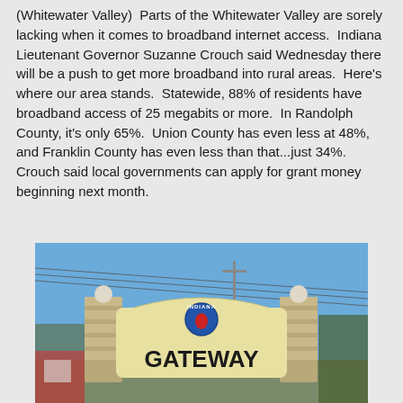(Whitewater Valley)  Parts of the Whitewater Valley are sorely lacking when it comes to broadband internet access.  Indiana Lieutenant Governor Suzanne Crouch said Wednesday there will be a push to get more broadband into rural areas.  Here's where our area stands.  Statewide, 88% of residents have broadband access of 25 megabits or more.  In Randolph County, it's only 65%.  Union County has even less at 48%, and Franklin County has even less than that...just 34%.  Crouch said local governments can apply for grant money beginning next month.
[Figure (photo): Photo of an Indiana Gateway welcome sign mounted on stone pillars with globe finials, against a clear blue sky with power lines visible. Trees visible at right edge. The sign reads 'INDIANA GATEWAY' with a state seal logo.]